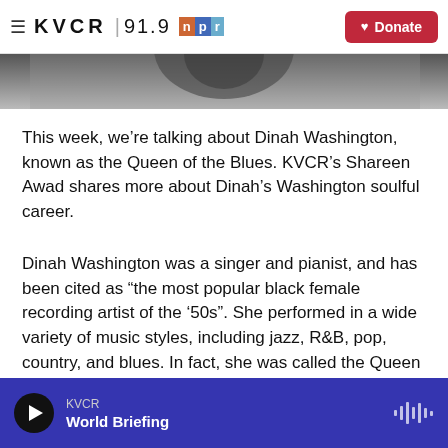KVCR 91.9 NPR | Donate
[Figure (photo): Black and white partial photo of a person, cropped at top]
This week, we’re talking about Dinah Washington, known as the Queen of the Blues. KVCR’s Shareen Awad shares more about Dinah’s Washington soulful career.
Dinah Washington was a singer and pianist, and has been cited as “the most popular black female recording artist of the ’50s”. She performed in a wide variety of music styles, including jazz, R&B, pop, country, and blues. In fact, she was called the Queen of the Blues and embraced the title, even
KVCR | World Briefing